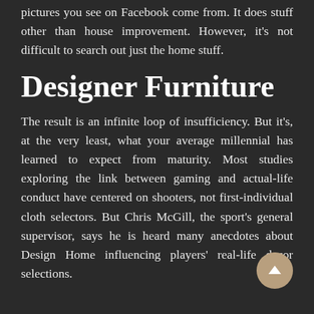pictures you see on Facebook come from. It does stuff other than house improvement. However, it's not difficult to search out just the home stuff.
Designer Furniture
The result is an infinite loop of insufficiency. But it's, at the very least, what your average millennial has learned to expect from maturity. Most studies exploring the link between gaming and actual-life conduct have centered on shooters, not first-individual cloth selectors. But Chris McGill, the sport's general supervisor, says he is heard many anecdotes about Design Home influencing players' real-life decor selections.